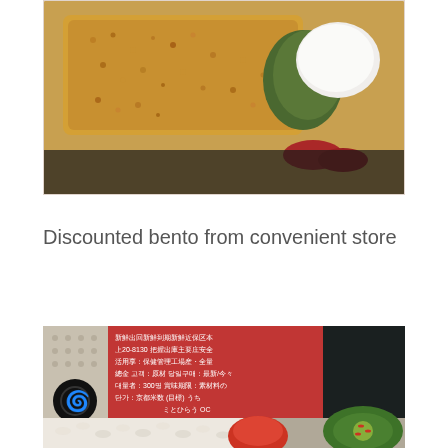[Figure (photo): A bento box meal with a breaded cutlet (tonkatsu), white rice, and red/green vegetables on a tray]
Discounted bento from convenient store
[Figure (photo): Close-up of a bento box showing white rice, a red tomato or pickled vegetable, sliced cucumber with red pepper, and a red label with Korean/Japanese text. A spiral logo is visible on the packaging.]